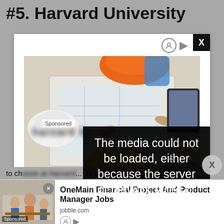#5. Harvard University
[Figure (photo): Aerial/top-down view of construction workers or engineers reviewing blueprints on a table, wearing hard hats (orange and yellow). A tablet device and architectural drawings are visible on the table.]
Sponsored
The media could not be loaded, either because the server or network failed or because the
to ch... at Harvard ... of the b...
[Figure (photo): Bottom advertisement banner showing people in an office/classroom setting with text: OneMain Financial Project And Product Manager Jobs, jobble.com]
OneMain Financial Project And Product Manager Jobs
jobble.com
Sponsored